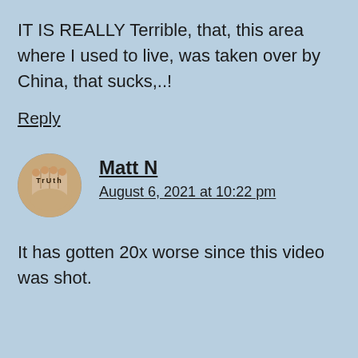IT IS REALLY Terrible, that, this area where I used to live, was taken over by China, that sucks,..!
Reply
[Figure (illustration): Circular avatar image showing hands with text 'TrUth' written on fingers, dark/sepia tone]
Matt N
August 6, 2021 at 10:22 pm
It has gotten 20x worse since this video was shot.